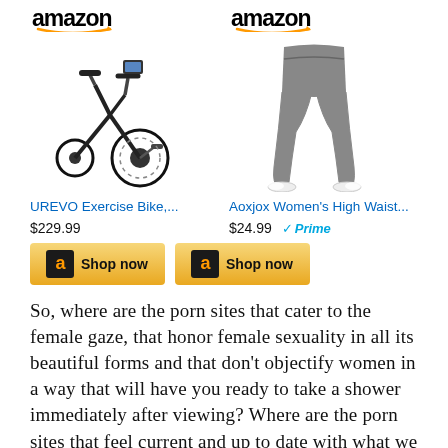[Figure (other): Amazon product listing for UREVO Exercise Bike with Amazon logo, product image, title 'UREVO Exercise Bike,...', price '$229.99', and 'Shop now' button]
[Figure (other): Amazon product listing for Aoxjox Women's High Waist leggings with Amazon logo, product image, title 'Aoxjox Women's High Waist...', price '$24.99' with Prime badge, and 'Shop now' button]
So, where are the porn sites that cater to the female gaze, that honor female sexuality in all its beautiful forms and that don't objectify women in a way that will have you ready to take a shower immediately after viewing? Where are the porn sites that feel current and up to date with what we want from sexual media today? And where are the porn sites that don't distract you from how good you want to feel?